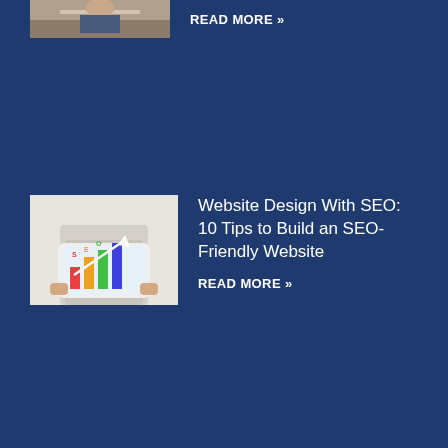[Figure (photo): Partial thumbnail image of a person at a desk, cropped at top of page]
READ MORE »
[Figure (photo): Person holding a tablet displaying colorful bar chart with SEO graphics and upward arrow]
Website Design With SEO: 10 Tips to Build an SEO-Friendly Website
READ MORE »